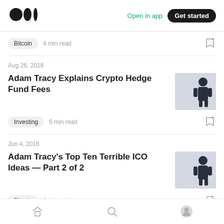Medium — Open in app  Get started
Bitcoin  4 min read
Aug 26, 2018
Adam Tracy Explains Crypto Hedge Fund Fees
Investing  5 min read
Jun 4, 2018
Adam Tracy's Top Ten Terrible ICO Ideas — Part 2 of 2
Bitcoin  6 min read
Home  Search  Profile